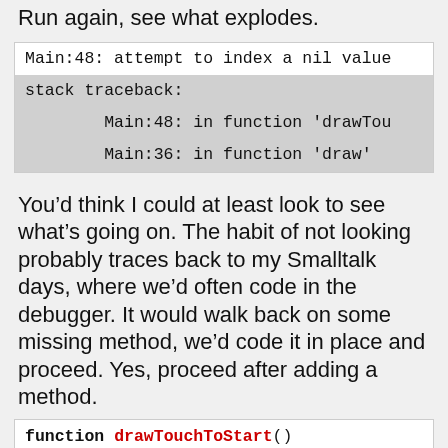Run again, see what explodes.
[Figure (screenshot): Code error output showing: Main:48: attempt to index a nil value / stack traceback: / Main:48: in function 'drawTou / Main:36: in function 'draw']
You’d think I could at least look to see what’s going on. The habit of not looking probably traces back to my Smalltalk days, where we’d often code in the debugger. It would walk back on some missing method, we’d code it in place and proceed. Yes, proceed after adding a method.
[Figure (screenshot): Code snippet beginning with: function drawTouchToStart()]